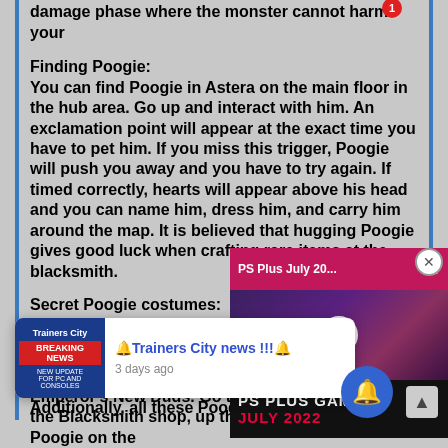damage phase where the monster cannot harm your
Finding Poogie:
You can find Poogie in Astera on the main floor in the hub area. Go up and interact with him. An exclamation point will appear at the exact time you have to pet him. If you miss this trigger, Poogie will push you away and you have to try again. If timed correctly, hearts will appear above his head and you can name him, dress him, and carry him around the map. It is believed that hugging Poogie gives good luck when crafting rare items at the blacksmith.
Secret Poogie costumes:
Once Poogie is your friend, take him to specific spots in Astera to find bonus co... only find one costume per visit t... quest or leave, then return to ge... Additionally, all these Poogie co...
[Figure (screenshot): Video player overlay showing PS Plus Games July 2022 thumbnail with play button and pink/magenta top bar]
[Figure (screenshot): Notification popup from Trainers City showing Breaking News with blue notification bell badge showing 1]
Emperor's New Duds. Go through the backdoor of the Blacksmith shop, up the stairs, and place Poogie on the